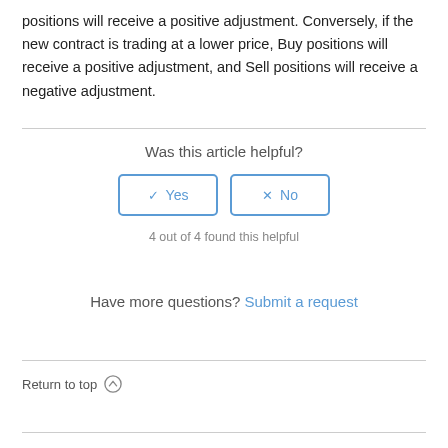positions will receive a positive adjustment. Conversely, if the new contract is trading at a lower price, Buy positions will receive a positive adjustment, and Sell positions will receive a negative adjustment.
Was this article helpful?
4 out of 4 found this helpful
Have more questions? Submit a request
Return to top